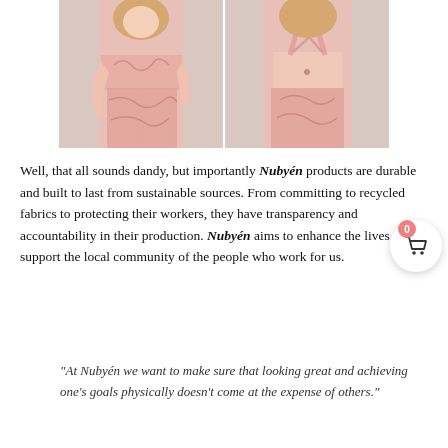[Figure (photo): Two side-by-side photos of a woman wearing pink camouflage athletic wear (sports bra and leggings) — front view on the left, back view on the right.]
Well, that all sounds dandy, but importantly Nubyén products are durable and built to last from sustainable sources. From committing to recycled fabrics to protecting their workers, they have transparency and accountability in their production. Nubyén aims to enhance the lives and support the local community of the people who work for us.
“At Nubyén we want to make sure that looking great and achieving one’s goals physically doesn’t come at the expense of others.”